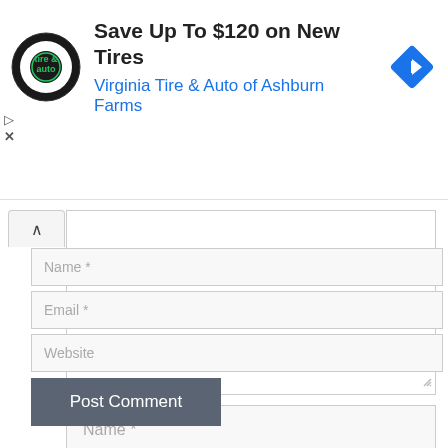[Figure (screenshot): Advertisement banner for Virginia Tire & Auto of Ashburn Farms showing logo, headline 'Save Up To $120 on New Tires', navigation icon, and ad controls (play/close)]
Name *
Email *
Website
Post Comment